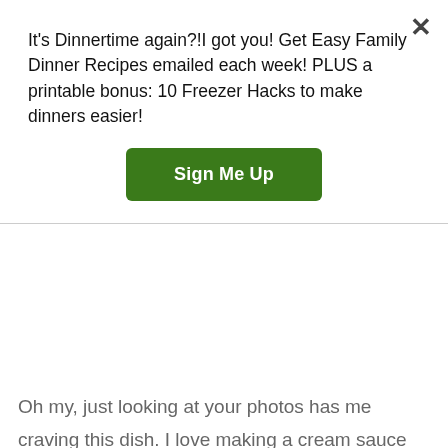It's Dinnertime again?!I got you! Get Easy Family Dinner Recipes emailed each week! PLUS a printable bonus: 10 Freezer Hacks to make dinners easier!
Sign Me Up
Oh my, just looking at your photos has me craving this dish. I love making a cream sauce with cauliflower and this recipe of yours with Italian sausage sounds fabulous. I must try it soon. As always, thanks for sharing Carrie.
Reply